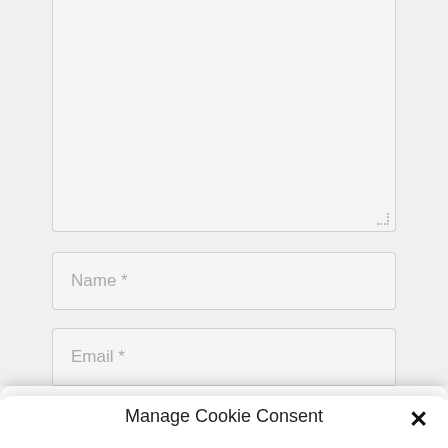[Figure (screenshot): Textarea form field (cropped at top), showing empty text area with light gray background and resize handle]
Name *
Email *
Manage Cookie Consent
We use cookies to optimize our website and our service.
Accept
Cookie Policy